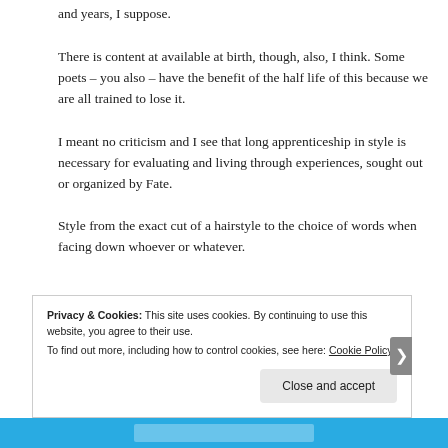and years, I suppose.
There is content at available at birth, though, also, I think. Some poets – you also – have the benefit of the half life of this because we are all trained to lose it.
I meant no criticism and I see that long apprenticeship in style is necessary for evaluating and living through experiences, sought out or organized by Fate.
Style from the exact cut of a hairstyle to the choice of words when facing down whoever or whatever.
Privacy & Cookies: This site uses cookies. By continuing to use this website, you agree to their use.
To find out more, including how to control cookies, see here: Cookie Policy